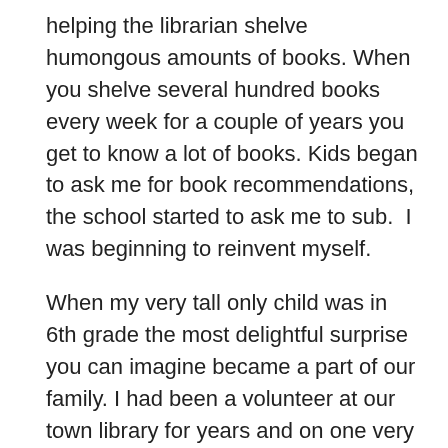helping the librarian shelve humongous amounts of books. When you shelve several hundred books every week for a couple of years you get to know a lot of books. Kids began to ask me for book recommendations, the school started to ask me to sub.  I was beginning to reinvent myself.
When my very tall only child was in 6th grade the most delightful surprise you can imagine became a part of our family. I had been a volunteer at our town library for years and on one very sleep-deprived day not long after my little guy was born, I saw a poster asking for readers for a new story time program. I put my name down thinking I would be happy to read a book now and then.  I love books!  I can do funny voices!  Exotic accents too!  I am a trained actress, it would be fun!
Two days later posters appeared all over town announcing I would be running Itsy Bitsy Story Time.